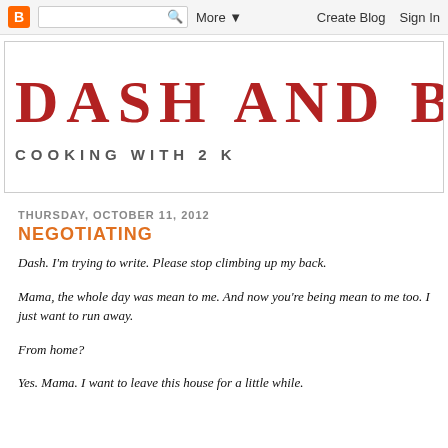Blogger navigation bar with logo, search, More, Create Blog, Sign In
DASH AND B
COOKING WITH 2 K
THURSDAY, OCTOBER 11, 2012
NEGOTIATING
Dash. I'm trying to write. Please stop climbing up my back.
Mama, the whole day was mean to me. And now you're being mean to me too. I just want to run away.
From home?
Yes. Mama. I want to leave this house for a little while.